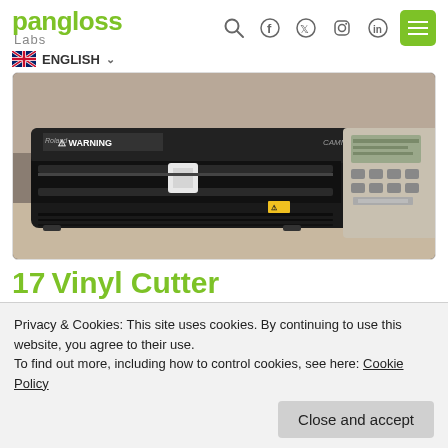pangloss Labs
ENGLISH
[Figure (photo): Roland GS-24 vinyl cutter machine on a desk, black body with warning label and LCD control panel on the right]
17  Vinyl Cutter
Privacy & Cookies: This site uses cookies. By continuing to use this website, you agree to their use.
To find out more, including how to control cookies, see here: Cookie Policy
The Roland GS-24 Vinyl Cutter is a desktop cutting